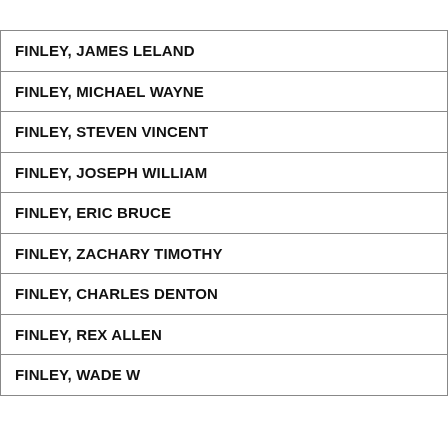| FINLEY, JAMES LELAND |
| FINLEY, MICHAEL WAYNE |
| FINLEY, STEVEN VINCENT |
| FINLEY, JOSEPH WILLIAM |
| FINLEY, ERIC BRUCE |
| FINLEY, ZACHARY TIMOTHY |
| FINLEY, CHARLES DENTON |
| FINLEY, REX ALLEN |
| FINLEY, WADE W |